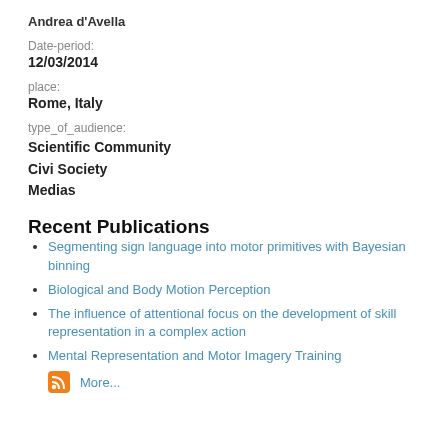Andrea d'Avella
Date-period:
12/03/2014
place:
Rome, Italy
type_of_audience:
Scientific Community
Civi Society
Medias
Recent Publications
Segmenting sign language into motor primitives with Bayesian binning
Biological and Body Motion Perception
The influence of attentional focus on the development of skill representation in a complex action
Mental Representation and Motor Imagery Training
More...